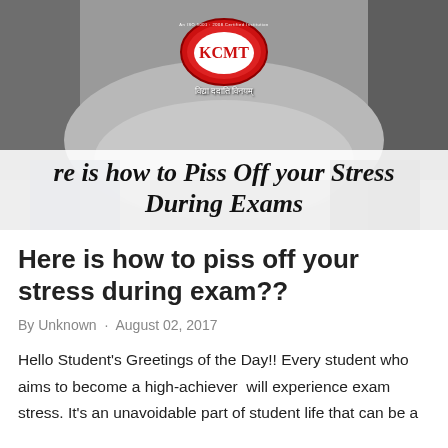[Figure (photo): Hero image showing students with hands joined together in a circle, with KCMT institution logo overlaid at the top center, and italic bold text overlay reading 're is how to Piss Off your Stress During Exams' at the bottom of the image on a white semi-transparent background.]
Here is how to piss off your stress during exam??
By Unknown · August 02, 2017
Hello Student's Greetings of the Day!! Every student who aims to become a high-achiever  will experience exam stress. It's an unavoidable part of student life that can be a